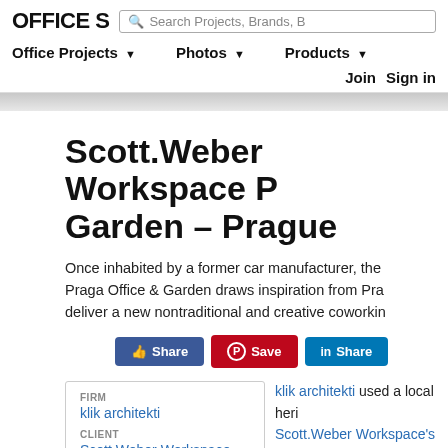OFFICE S | Search Projects, Brands, B | Office Projects ▼ | Photos ▼ | Products ▼ | Join | Sign in
Scott.Weber Workspace Praga Office & Garden – Prague
Once inhabited by a former car manufacturer, the Praga Office & Garden draws inspiration from Pra... deliver a new nontraditional and creative coworkin...
Share | Save | Share
| FIRM | CLIENT |
| --- | --- |
| klik architekti |
| Scott.Weber Workspace |
klik architekti used a local heri... Scott.Weber Workspace's Pra... Czech Republic.